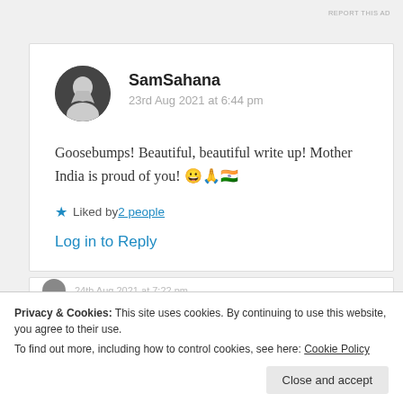REPORT THIS AD
SamSahana
23rd Aug 2021 at 6:44 pm
Goosebumps! Beautiful, beautiful write up! Mother India is proud of you! 😀🙏🇮🇳
★ Liked by 2 people
Log in to Reply
Privacy & Cookies: This site uses cookies. By continuing to use this website, you agree to their use.
To find out more, including how to control cookies, see here: Cookie Policy
Close and accept